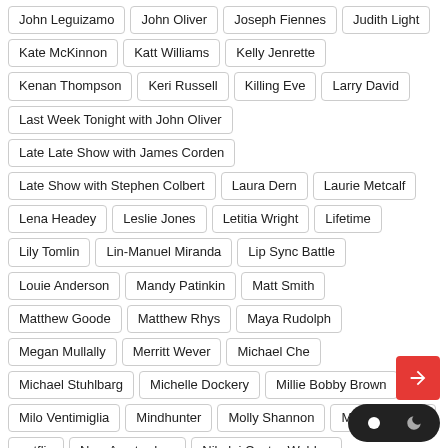John Leguizamo
John Oliver
Joseph Fiennes
Judith Light
Kate McKinnon
Katt Williams
Kelly Jenrette
Kenan Thompson
Keri Russell
Killing Eve
Larry David
Last Week Tonight with John Oliver
Late Late Show with James Corden
Late Show with Stephen Colbert
Laura Dern
Laurie Metcalf
Lena Headey
Leslie Jones
Letitia Wright
Lifetime
Lily Tomlin
Lin-Manuel Miranda
Lip Sync Battle
Louie Anderson
Mandy Patinkin
Matt Smith
Matthew Goode
Matthew Rhys
Maya Rudolph
Megan Mullally
Merritt Wever
Michael Che
Michael Stuhlbarg
Michelle Dockery
Millie Bobby Brown
Milo Ventimiglia
Mindhunter
Molly Shannon
Mom
NBC
netflix
New Amsterdam
Nikolaj Coster-Waldau
Orange is the New Black
Orphan Black
Oz
Pamela Adlon
Paramount
Paterno